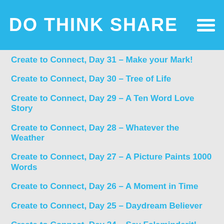DO THINK SHARE
Create to Connect, Day 31 – Make your Mark!
Create to Connect, Day 30 – Tree of Life
Create to Connect, Day 29 – A Ten Word Love Story
Create to Connect, Day 28 – Whatever the Weather
Create to Connect, Day 27 – A Picture Paints 1000 Words
Create to Connect, Day 26 – A Moment in Time
Create to Connect, Day 25 – Daydream Believer
Create to Connect, Day 24 – Say Faleminderit!
Create to Connect, Day 23 – Curate to Connect
Create to Connect, Day 22 – On your Head
Create to Connect, Day 21 – Recycled portraits